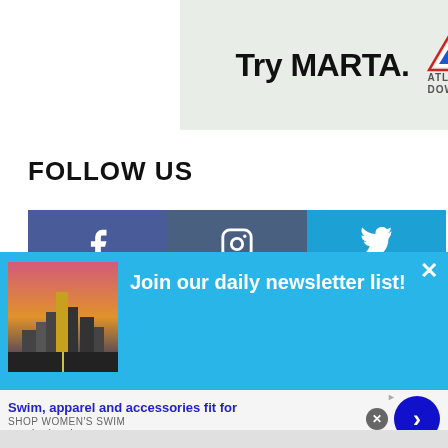[Figure (logo): Try MARTA. Atlanta Downtown advertisement banner with green-gray background, bold black text 'Try MARTA.' and Atlanta Downtown logo/triangle mark]
FOLLOW US
[Figure (infographic): Three social media buttons side by side: Facebook (dark blue), Instagram (darker slate blue), Twitter (bright cyan blue), each showing white icons]
[Figure (infographic): Newsletter popup overlay in cyan/sky blue. Contains city skyline photo on left. Text: 'Join our daily newsletter list!' with a close X button. Below: 'Start your morning with us. The Daily Brief delivers']
[Figure (infographic): Bottom advertisement: 'Swim, apparel and accessories fit for' in blue bold, 'SHOP WOMEN'S SWIM' in gray, 'www.landsend.com' in green, with close button and blue next arrow button on right]